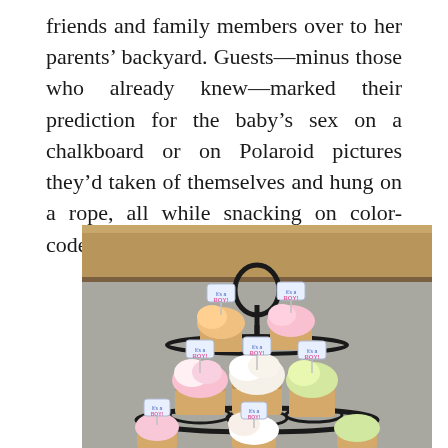friends and family members over to her parents' backyard. Guests—minus those who already knew—marked their prediction for the baby's sex on a chalkboard or on Polaroid pictures they'd taken of themselves and hung on a rope, all while snacking on color-coded cupcakes and chocolate cigars.
[Figure (photo): A tiered black metal cupcake stand holding several colorful frosted cupcakes with baby gender reveal toppers reading 'It's a Boy!' and similar messages. The cupcakes have swirled frosting in pink, white, orange, and yellow colors. Background shows a wooden beam and neutral wall.]